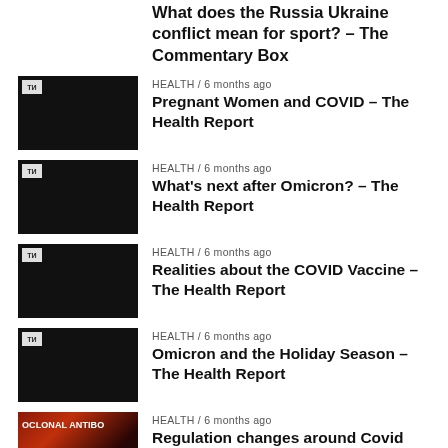What does the Russia Ukraine conflict mean for sport? – The Commentary Box
HEALTH / 6 months ago
Pregnant Women and COVID – The Health Report
HEALTH / 6 months ago
What's next after Omicron? – The Health Report
HEALTH / 6 months ago
Realities about the COVID Vaccine – The Health Report
HEALTH / 6 months ago
Omicron and the Holiday Season – The Health Report
HEALTH / 6 months ago
Regulation changes around Covid treatment – The Health Report
RECENT COMMENTS
America First on Pope: NATO Started Ukraine War by "Barking at the Door of Russia"